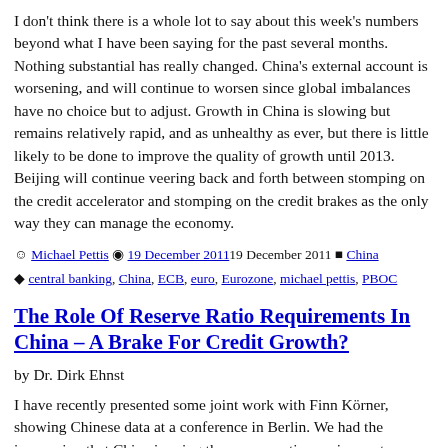I don't think there is a whole lot to say about this week's numbers beyond what I have been saying for the past several months. Nothing substantial has really changed. China's external account is worsening, and will continue to worsen since global imbalances have no choice but to adjust. Growth in China is slowing but remains relatively rapid, and as unhealthy as ever, but there is little likely to be done to improve the quality of growth until 2013. Beijing will continue veering back and forth between stomping on the credit accelerator and stomping on the credit brakes as the only way they can manage the economy.
by Michael Pettis | 19 December 2011 | China | central banking, China, ECB, euro, Eurozone, michael pettis, PBOC
The Role Of Reserve Ratio Requirements In China – A Brake For Credit Growth?
by Dr. Dirk Ehnst
I have recently presented some joint work with Finn Körner, showing Chinese data at a conference in Berlin. We had the impression that China is using the reserve ratio requirements